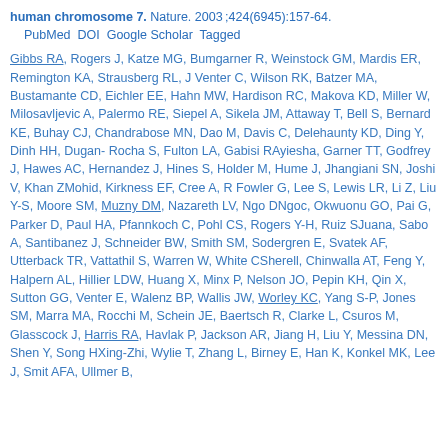human chromosome 7. Nature. 2003;424(6945):157-64. PubMed DOI Google Scholar Tagged
Gibbs RA, Rogers J, Katze MG, Bumgarner R, Weinstock GM, Mardis ER, Remington KA, Strausberg RL, J Venter C, Wilson RK, Batzer MA, Bustamante CD, Eichler EE, Hahn MW, Hardison RC, Makova KD, Miller W, Milosavljevic A, Palermo RE, Siepel A, Sikela JM, Attaway T, Bell S, Bernard KE, Buhay CJ, Chandrabose MN, Dao M, Davis C, Delehaunty KD, Ding Y, Dinh HH, Dugan-Rocha S, Fulton LA, Gabisi RAyiesha, Garner TT, Godfrey J, Hawes AC, Hernandez J, Hines S, Holder M, Hume J, Jhangiani SN, Joshi V, Khan ZMohid, Kirkness EF, Cree A, R Fowler G, Lee S, Lewis LR, Li Z, Liu Y-S, Moore SM, Muzny DM, Nazareth LV, Ngo DNgoc, Okwuonu GO, Pai G, Parker D, Paul HA, Pfannkoch C, Pohl CS, Rogers Y-H, Ruiz SJuana, Sabo A, Santibanez J, Schneider BW, Smith SM, Sodergren E, Svatek AF, Utterback TR, Vattathil S, Warren W, White CSherell, Chinwalla AT, Feng Y, Halpern AL, Hillier LDW, Huang X, Minx P, Nelson JO, Pepin KH, Qin X, Sutton GG, Venter E, Walenz BP, Wallis JW, Worley KC, Yang S-P, Jones SM, Marra MA, Rocchi M, Schein JE, Baertsch R, Clarke L, Csuros M, Glasscock J, Harris RA, Havlak P, Jackson AR, Jiang H, Liu Y, Messina DN, Shen Y, Song HXing-Zhi, Wylie T, Zhang L, Birney E, Han K, Konkel MK, Lee J, Smit AFA, Ullmer B,